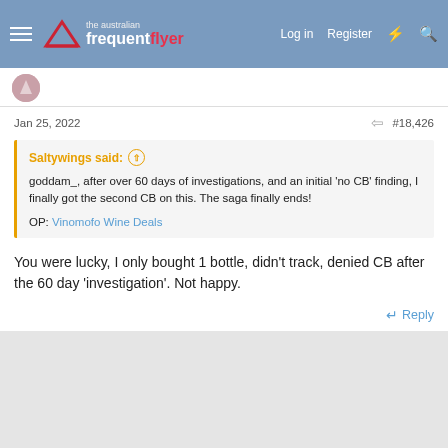The Australian Frequent Flyer — Log in  Register
Jan 25, 2022   #18,426
Saltywings said: ↑

goddam_, after over 60 days of investigations, and an initial 'no CB' finding, I finally got the second CB on this. The saga finally ends!

OP: Vinomofo Wine Deals
You were lucky, I only bought 1 bottle, didn't track, denied CB after the 60 day 'investigation'. Not happy.
Reply